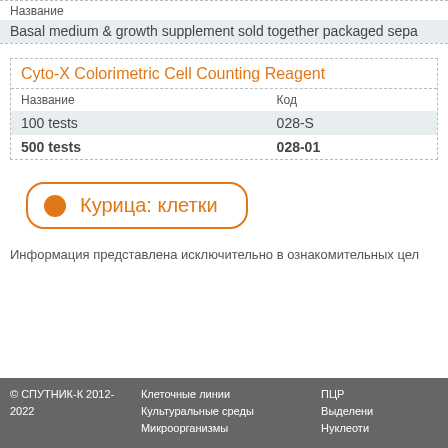| Название |
| --- |
| Basal medium & growth supplement sold together packaged sepa |
| Название | Код |
| --- | --- |
| 100 tests | 028-S |
| 500 tests | 028-01 |
Курица: клетки
Информация представлена исключительно в ознакомительных цел
© СПУТНИК-К 2012-2022   Клеточные линии   Культуральные среды   Микроорганизмы   ПЦР   Выделени   Нуклеоти